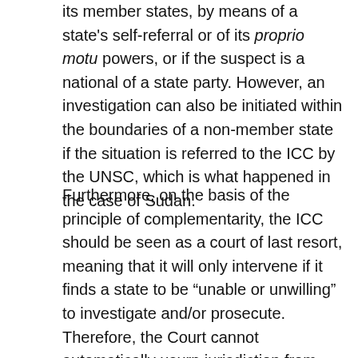its member states, by means of a state's self-referral or of its proprio motu powers, or if the suspect is a national of a state party. However, an investigation can also be initiated within the boundaries of a non-member state if the situation is referred to the ICC by the UNSC, which is what happened in the case of Sudan.
Furthermore, on the basis of the principle of complementarity, the ICC should be seen as a court of last resort, meaning that it will only intervene if it finds a state to be “unable or unwilling” to investigate and/or prosecute. Therefore, the Court cannot automatically usurp jurisdiction from states, and states themselves can avoid the intervention of the ICC if they are able to conduct a genuine investigation and prosecution.